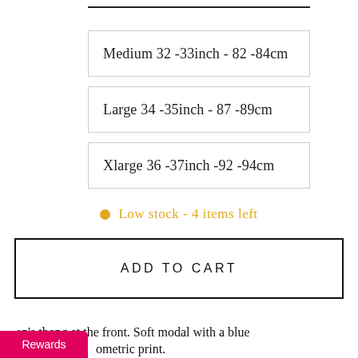Medium 32 -33inch - 82 -84cm
Large 34 -35inch - 87 -89cm
Xlarge 36 -37inch -92 -94cm
Low stock - 4 items left
ADD TO CART
en's thong at the front. Soft modal with a blue ometric print.